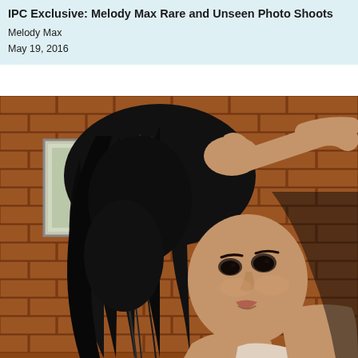IPC Exclusive: Melody Max Rare and Unseen Photo Shoots
Melody Max
May 19, 2016
[Figure (photo): A young woman with long dark wavy hair posing against a brick wall. She is looking over her shoulder at the camera with her hand raised behind her head. She is wearing a light-colored top. A framed picture is visible on the brick wall in the background.]